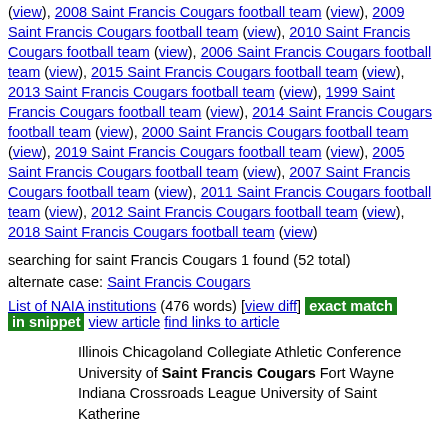(view), 2008 Saint Francis Cougars football team (view), 2009 Saint Francis Cougars football team (view), 2010 Saint Francis Cougars football team (view), 2006 Saint Francis Cougars football team (view), 2015 Saint Francis Cougars football team (view), 2013 Saint Francis Cougars football team (view), 1999 Saint Francis Cougars football team (view), 2014 Saint Francis Cougars football team (view), 2000 Saint Francis Cougars football team (view), 2019 Saint Francis Cougars football team (view), 2005 Saint Francis Cougars football team (view), 2007 Saint Francis Cougars football team (view), 2011 Saint Francis Cougars football team (view), 2012 Saint Francis Cougars football team (view), 2018 Saint Francis Cougars football team (view)
searching for saint Francis Cougars 1 found (52 total)
alternate case: Saint Francis Cougars
List of NAIA institutions (476 words) [view diff] exact match in snippet view article find links to article
Illinois Chicagoland Collegiate Athletic Conference University of Saint Francis Cougars Fort Wayne Indiana Crossroads League University of Saint Katherine